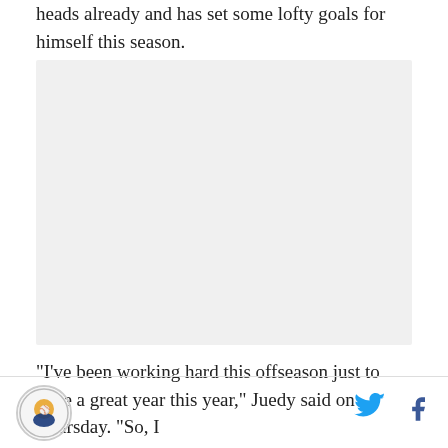heads already and has set some lofty goals for himself this season.
[Figure (photo): Large image placeholder with light gray background]
“I’ve been working hard this offseason just to have a great year this year,” Juedy said on Thursday. “So, I
Logo icon | Twitter icon | Facebook icon